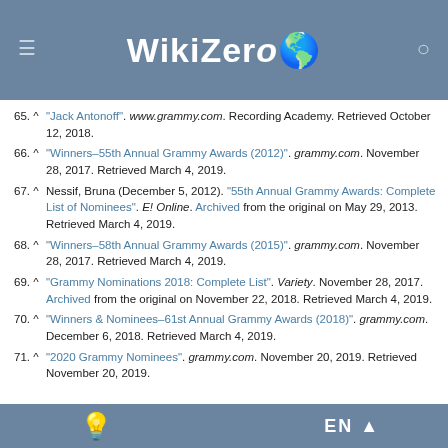WikiZero
65. ^ "Jack Antonoff". www.grammy.com. Recording Academy. Retrieved October 12, 2018.
66. ^ "Winners–55th Annual Grammy Awards (2012)". grammy.com. November 28, 2017. Retrieved March 4, 2019.
67. ^ Nessif, Bruna (December 5, 2012). "55th Annual Grammy Awards: Complete List of Nominees". E! Online. Archived from the original on May 29, 2013. Retrieved March 4, 2019.
68. ^ "Winners–58th Annual Grammy Awards (2015)". grammy.com. November 28, 2017. Retrieved March 4, 2019.
69. ^ "Grammy Nominations 2018: Complete List". Variety. November 28, 2017. Archived from the original on November 22, 2018. Retrieved March 4, 2019.
70. ^ "Winners & Nominees–61st Annual Grammy Awards (2018)". grammy.com. December 6, 2018. Retrieved March 4, 2019.
71. ^ "2020 Grammy Nominees". grammy.com. November 20, 2019. Retrieved November 20, 2019.
EN